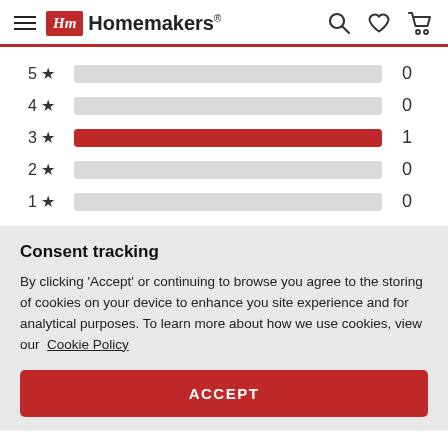Homemakers
[Figure (bar-chart): Star ratings distribution]
Consent tracking
By clicking 'Accept' or continuing to browse you agree to the storing of cookies on your device to enhance you site experience and for analytical purposes. To learn more about how we use cookies, view our Cookie Policy
ACCEPT